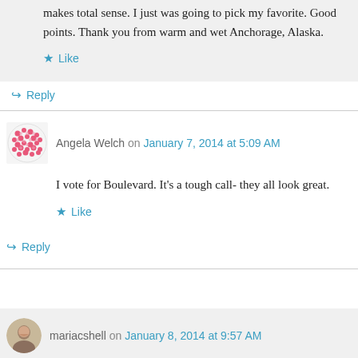makes total sense. I just was going to pick my favorite. Good points. Thank you from warm and wet Anchorage, Alaska.
Like
Reply
Angela Welch on January 7, 2014 at 5:09 AM
I vote for Boulevard. It's a tough call- they all look great.
Like
Reply
mariacshell on January 8, 2014 at 9:57 AM